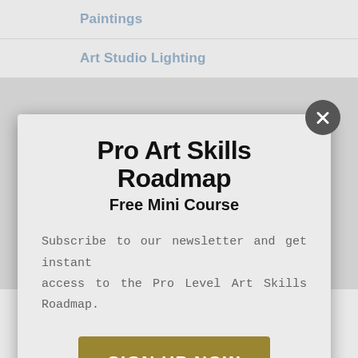Paintings
Art Studio Lighting
Pro Art Skills Roadmap
Free Mini Course
Subscribe to our newsletter and get instant access to the Pro Level Art Skills Roadmap.
SIGN UP NOW
Even under proper museum lighting, paintings can be difficult to photograph without a proper set up.